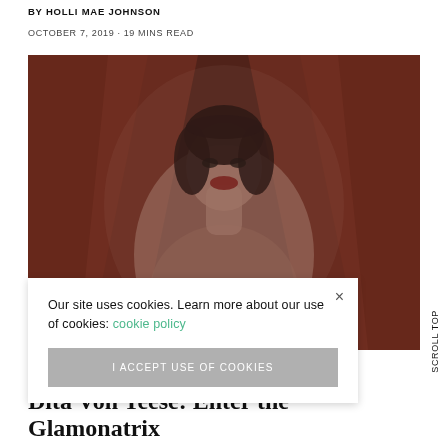BY HOLLI MAE JOHNSON
OCTOBER 7, 2019 · 19 MINS READ
[Figure (photo): A blurred glamour photograph of a woman with dark hair and red lips against a warm reddish-brown background, styled in a vintage pin-up manner.]
Our site uses cookies. Learn more about our use of cookies: cookie policy
I ACCEPT USE OF COOKIES
Scroll Top
Dita Von Teese: Enter the Glamonatrix